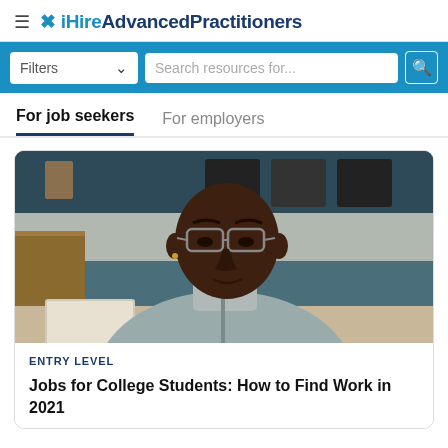≡ ✕iHireAdvancedPractitioners
Filters  ∨    Search resources for...  🔍
For job seekers   For employers
[Figure (photo): Young Black man wearing glasses and a grey hoodie, looking down at a laptop, studying or working in a cafe-like setting]
ENTRY LEVEL
Jobs for College Students: How to Find Work in 2021